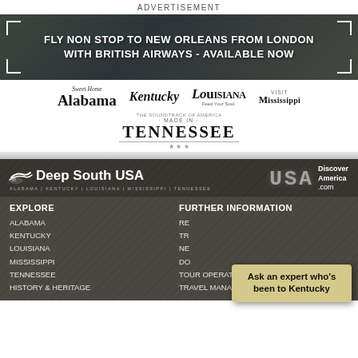ADVERTISEMENT
[Figure (photo): Banner photo of New Orleans street scene with text overlay: FLY NON STOP TO NEW ORLEANS FROM LONDON WITH BRITISH AIRWAYS - AVAILABLE NOW]
[Figure (logo): State tourism logos: Sweet Home Alabama, Kentucky (Unbridled Spirit), Louisiana Feed Your Soul, Visit Mississippi, Made in Tennessee (The Soundtrack of America)]
[Figure (photo): Dark textured leather background section with Deep South USA logo (Alabama/Kentucky/Louisiana/Mississippi/Tennessee), USA DiscoverAmerica.com logo, navigation columns EXPLORE and FURTHER INFORMATION with state links, and a tooltip box reading 'Ask an expert who's been to Kentucky']